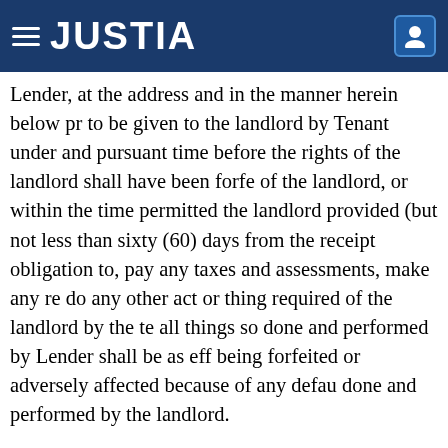JUSTIA
Lender, at the address and in the manner herein below pr to be given to the landlord by Tenant under and pursuant time before the rights of the landlord shall have been forfe of the landlord, or within the time permitted the landlord provided (but not less than sixty (60) days from the receipt obligation to, pay any taxes and assessments, make any re do any other act or thing required of the landlord by the te all things so done and performed by Lender shall be as eff being forfeited or adversely affected because of any defau done and performed by the landlord.
Tenant acknowledges that Landlord has executed and as security for the Loan, and Tenant hereby expressly cons
Tenant agrees that there shall be no further subordin Lease to any other lender or to any other party without fir Any attempt to effect a further subordination of Tenant's i